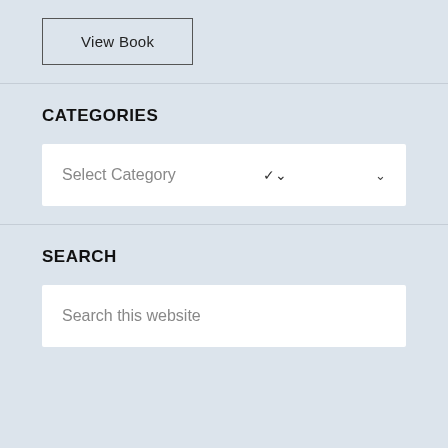View Book
CATEGORIES
Select Category
SEARCH
Search this website